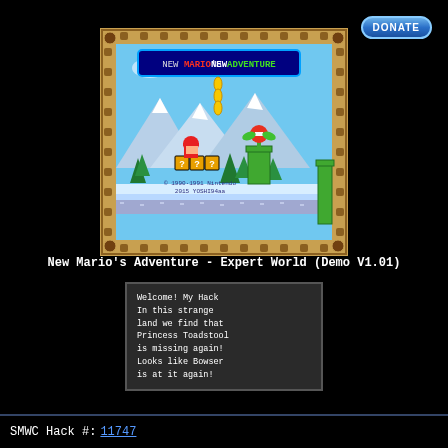[Figure (screenshot): Super Mario World hack title screen showing 'NEW MARIO'S ADVENTURE' with Mario, Piranha Plant, coins, question blocks, mountains and pine trees. Copyright 1990-1991 Nintendo, 2015 YOSHI94aa]
New Mario's Adventure - Expert World (Demo V1.01)
Welcome! My Hack In this strange land we find that Princess Toadstool is missing again! Looks like Bowser is at it again!
SMWC Hack #: 11747